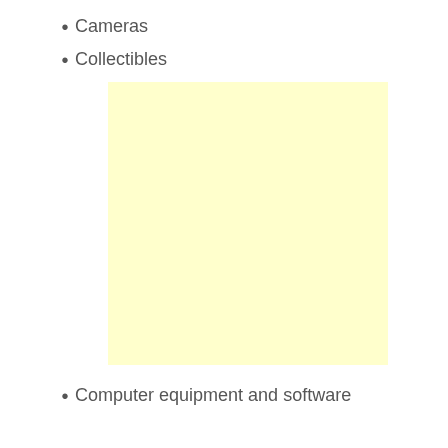Cameras
Collectibles
[Figure (other): A plain light yellow rectangular box, likely a placeholder for an image or advertisement.]
Computer equipment and software